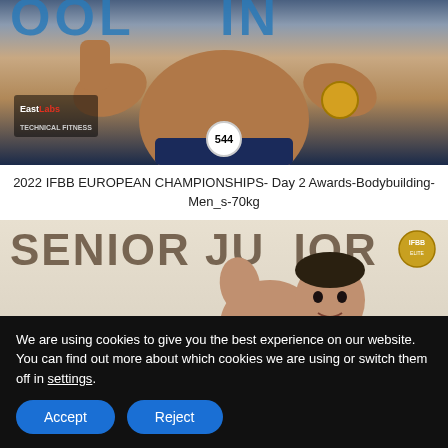[Figure (photo): Bodybuilder holding trophy and medal with competitor number 544, EastLabs photo logo visible]
2022 IFBB EUROPEAN CHAMPIONSHIPS- Day 2 Awards-Bodybuilding-Men_s-70kg
[Figure (photo): Athlete posing in front of SENIOR JUNIOR banner, IFBB badge visible top right]
We are using cookies to give you the best experience on our website.
You can find out more about which cookies we are using or switch them off in settings.